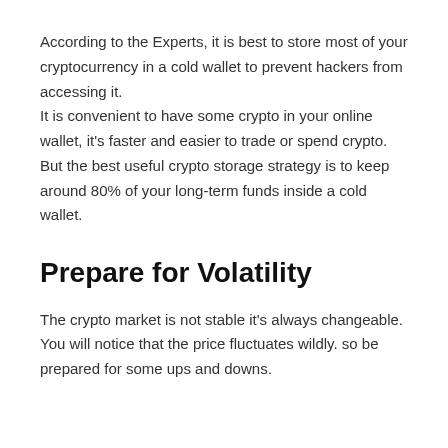According to the Experts, it is best to store most of your cryptocurrency in a cold wallet to prevent hackers from accessing it.
It is convenient to have some crypto in your online wallet, it's faster and easier to trade or spend crypto. But the best useful crypto storage strategy is to keep around 80% of your long-term funds inside a cold wallet.
Prepare for Volatility
The crypto market is not stable it's always changeable. You will notice that the price fluctuates wildly. so be prepared for some ups and downs.